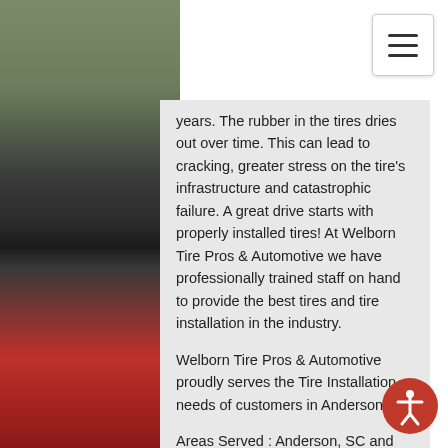[Figure (photo): Exterior photo of Welborn Tire Pros & Automotive building on the left side of the page]
[Figure (other): Hamburger menu button in top-right corner]
years. The rubber in the tires dries out over time. This can lead to cracking, greater stress on the tire's infrastructure and catastrophic failure. A great drive starts with properly installed tires! At Welborn Tire Pros & Automotive we have professionally trained staff on hand to provide the best tires and tire installation in the industry.
Welborn Tire Pros & Automotive proudly serves the Tire Installation needs of customers in Anderson, SC
Areas Served : Anderson, SC and surrounding areas
[Figure (other): Accessibility icon button in bottom-right corner]